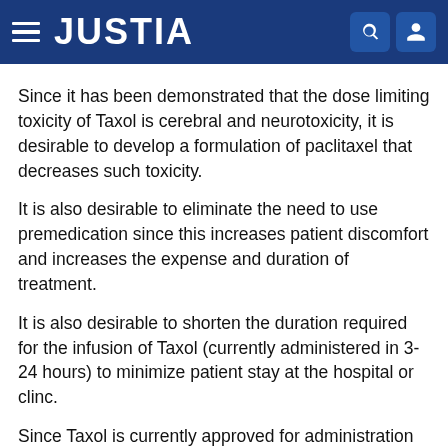JUSTIA
Since it has been demonstrated that the dose limiting toxicity of Taxol is cerebral and neurotoxicity, it is desirable to develop a formulation of paclitaxel that decreases such toxicity.
It is also desirable to eliminate the need to use premedication since this increases patient discomfort and increases the expense and duration of treatment.
It is also desirable to shorten the duration required for the infusion of Taxol (currently administered in 3-24 hours) to minimize patient stay at the hospital or clinc.
Since Taxol is currently approved for administration at concentrations between 0.6-1.2 mg/ml and a typical dose in humans is about 250-350 mg, this results in infusion volumes typically greater than 300 ml. It is desirable to reduce these infusion volumes. This can be